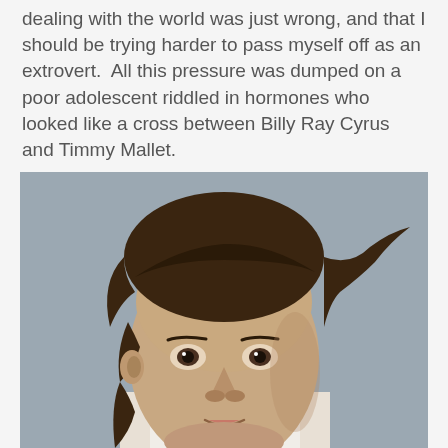dealing with the world was just wrong, and that I should be trying harder to pass myself off as an extrovert.  All this pressure was dumped on a poor adolescent riddled in hormones who looked like a cross between Billy Ray Cyrus and Timmy Mallet.
[Figure (photo): Close-up photograph of a young adolescent with a mullet-style brown haircut, looking directly at the camera with a neutral expression. The background is a muted blue-grey.]